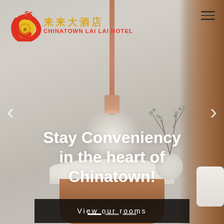[Figure (photo): Hotel room background photo showing a pendant copper/rose-gold lamp hanging from ceiling, a wooden/walnut headboard on the right, a round white marble nightstand at the bottom, a decorative plant in a white vase, and a white pillow. Neutral grey-beige toned interior.]
来来大酒店 CHINATOWN LAI LAI HOTEL
Stay Conveniency in the heart of Chinatown!
View our rooms